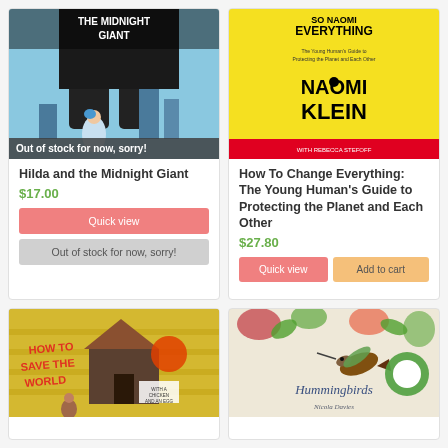[Figure (illustration): Book cover: Hilda and the Midnight Giant, illustrated cover with a girl and a giant silhouette in blue tones]
Out of stock for now, sorry!
Hilda and the Midnight Giant
$17.00
Quick view
Out of stock for now, sorry!
[Figure (illustration): Book cover: How To Change Everything: The Young Human's Guide to Protecting the Planet and Each Other by Naomi Klein with Rebecca Stefoff, yellow cover with bold black text]
How To Change Everything: The Young Human's Guide to Protecting the Planet and Each Other
$27.80
Quick view
Add to cart
[Figure (illustration): Book cover: How To Save The World (with a chicken and an egg), illustrated cover with orange and yellow tones]
[Figure (illustration): Book cover: Hummingbird by Nicola Davies, illustrated cover with hummingbird and floral design]